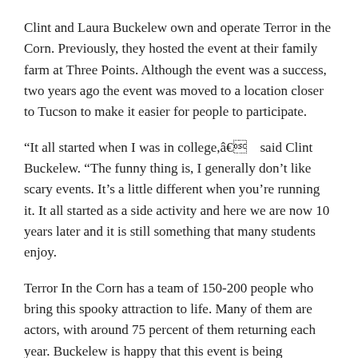Clint and Laura Buckelew own and operate Terror in the Corn. Previously, they hosted the event at their family farm at Three Points. Although the event was a success, two years ago the event was moved to a location closer to Tucson to make it easier for people to participate.
“It all started when I was in college,â€ said Clint Buckelew. “The funny thing is, I generally don’t like scary events. It’s a little different when you’re running it. It all started as a side activity and here we are now 10 years later and it is still something that many students enjoy.
Terror In the Corn has a team of 150-200 people who bring this spooky attraction to life. Many of them are actors, with around 75 percent of them returning each year. Buckelew is happy that this event is being organized by the local community for the local community.
“It’s great to have something that people come back to year after year to create,â€ Buckelew said. “People really enjoy being a